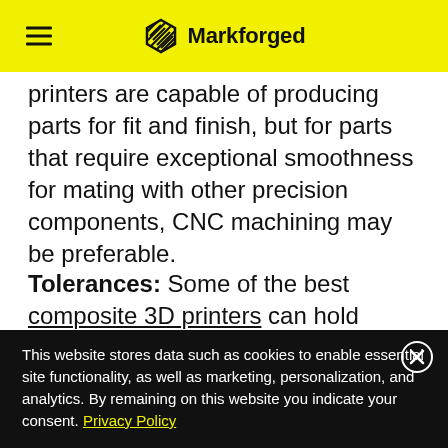Markforged
printers are capable of producing parts for fit and finish, but for parts that require exceptional smoothness for mating with other precision components, CNC machining may be preferable.
Tolerances: Some of the best composite 3D printers can hold dimensional tolerances down to +/- 0.005", and typically have a
This website stores data such as cookies to enable essential site functionality, as well as marketing, personalization, and analytics. By remaining on this website you indicate your consent. Privacy Policy